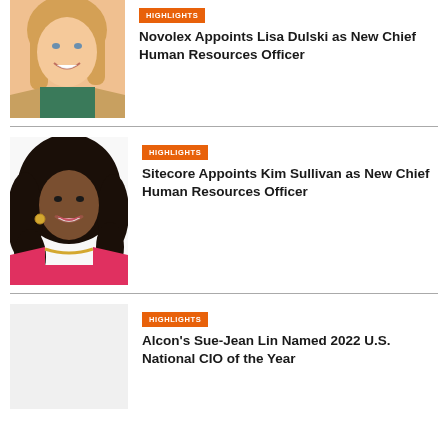[Figure (photo): Headshot of a woman with long blonde hair, smiling, wearing a tan blazer over a green top. Cropped at shoulders.]
HIGHLIGHTS
Novolex Appoints Lisa Dulski as New Chief Human Resources Officer
[Figure (photo): Headshot of a Black woman with long dark curly hair, smiling, wearing a pink top and gold necklace.]
HIGHLIGHTS
Sitecore Appoints Kim Sullivan as New Chief Human Resources Officer
HIGHLIGHTS
Alcon's Sue-Jean Lin Named 2022 U.S. National CIO of the Year